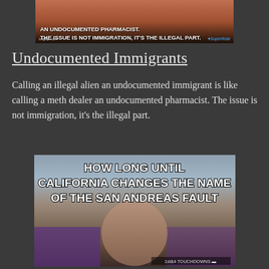[Figure (photo): Meme image with text on dark/orange background: partial text visible reading 'AN UNDOCUMENTED PHARMACIST. THE ISSUE IS NOT IMMIGRATION, IT'S THE ILLEGAL PART.' with imgflip.com watermark and 'Superficial' branding]
Undocumented Immigrants
Calling an illegal alien an undocumented immigrant is like calling a meth dealer an undocumented pharmacist. The issue is not immigration, it's the illegal part.
[Figure (photo): Meme with Gene Wilder as Willy Wonka resting chin on hand with text: 'HOW LONG UNTIL CALIFORNIA CHANGES THE NAME OF THE SAN ANDREAS FAULT' with '1st&4 TOUCHDOWNS' watermark]